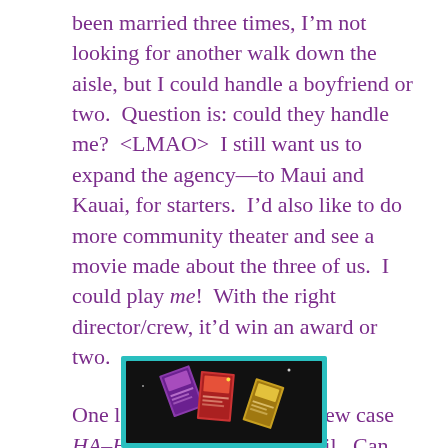been married three times, I'm not looking for another walk down the aisle, but I could handle a boyfriend or two.  Question is: could they handle me?  <LMAO>  I still want us to expand the agency—to Maui and Kauai, for starters.  I'd also like to do more community theater and see a movie made about the three of us.  I could play me!  With the right director/crew, it'd win an award or two.
One last thing re 2020: our new case HA–HA–HA–HA will be avail.  Can you spell w-o-o-h-o-o?
[Figure (photo): Book covers on a dark background with a teal/green border, showing multiple colorful book covers arranged together]